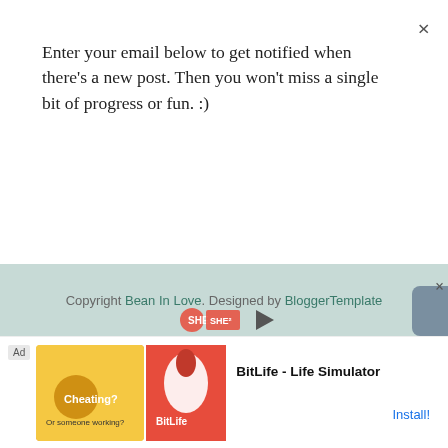×
Enter your email below to get notified when there's a new post. Then you won't miss a single bit of progress or fun. :)
Subscribe
noted in the posts themselves. Thank you for reading, supporting us, and fueling our love for all things DIY!
Copyright Bean In Love. Designed by BloggerTemplate
[Figure (screenshot): Advertisement bar showing BitLife - Life Simulator app with Install button]